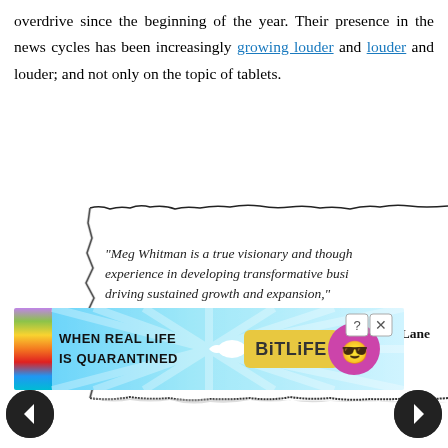overdrive since the beginning of the year. Their presence in the news cycles has been increasingly growing louder and louder and louder; and not only on the topic of tablets.
[Figure (illustration): Torn paper / ripped page effect illustration containing a quote from Raymond J. Lane about Meg Whitman being a true visionary]
"Meg Whitman is a true visionary and though experience in developing transformative busi driving sustained growth and expansion,"
Raymond J. Lane
[Figure (screenshot): Advertisement banner for BitLife game: WHEN REAL LIFE IS QUARANTINED → BitLife, with colorful emoji mascot and rainbow stripe on left]
[Figure (other): Left navigation arrow button (dark circle with white left arrow)]
[Figure (other): Right navigation arrow button (dark circle with white right arrow)]